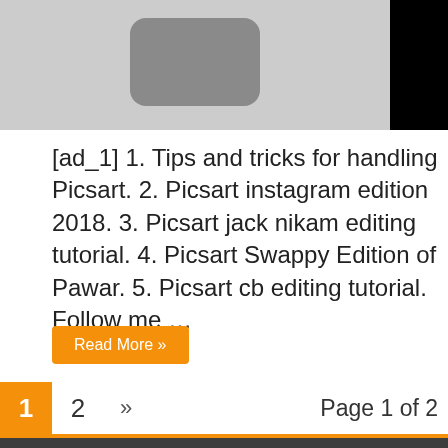[Figure (photo): A grayscale image with a rounded rectangle shape centered on a light gray background, with a black square on the right side.]
[ad_1] 1. Tips and tricks for handling Picsart. 2. Picsart instagram edition 2018. 3. Picsart jack nikam editing tutorial. 4. Picsart Swappy Edition of Pawar. 5. Picsart cb editing tutorial. Follow me …
Read More »
1  2  »  Page 1 of 2
Powered by https://naaju.com | Designed by Naaju
© Copyright 2022, All Rights Reserved